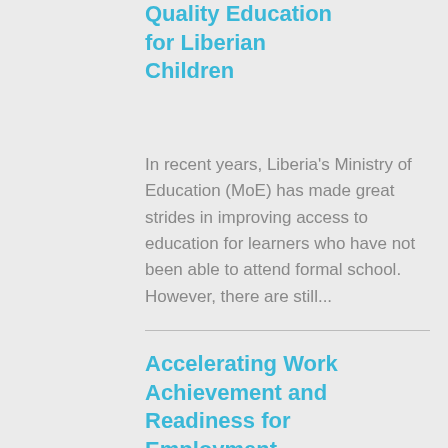Quality Education for Liberian Children
In recent years, Liberia's Ministry of Education (MoE) has made great strides in improving access to education for learners who have not been able to attend formal school. However, there are still...
Accelerating Work Achievement and Readiness for Employment (AWARE3)